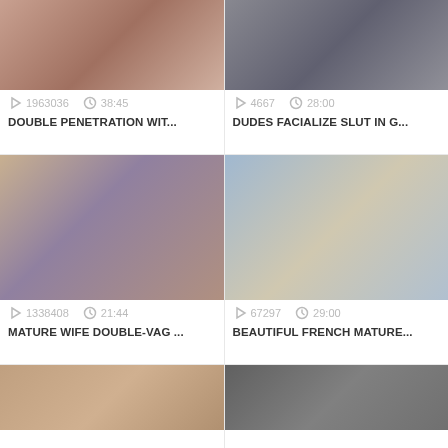[Figure (screenshot): Video thumbnail top-left: adult content]
1963036   38:45
DOUBLE PENETRATION WIT...
[Figure (screenshot): Video thumbnail top-right: adult content]
4667   28:00
DUDES FACIALIZE SLUT IN G...
[Figure (screenshot): Video thumbnail middle-left: three people on sofa]
1338408   21:44
MATURE WIFE DOUBLE-VAG ...
[Figure (screenshot): Video thumbnail middle-right: woman with long blonde hair outdoors by sea]
67297   29:00
BEAUTIFUL FRENCH MATURE...
[Figure (screenshot): Video thumbnail bottom-left: adult content]
[Figure (screenshot): Video thumbnail bottom-right: adult content]